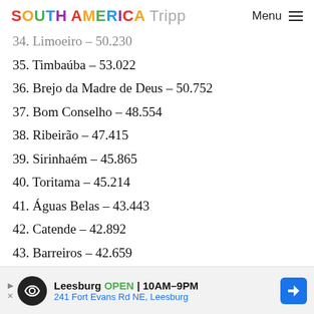SOUTH AMERICA Tripp   Menu ≡
34. Limoeiro – 50.230
35. Timbaúba – 53.022
36. Brejo da Madre de Deus – 50.752
37. Bom Conselho – 48.554
38. Ribeirão – 47.415
39. Sirinhaém – 45.865
40. Toritama – 45.214
41. Águas Belas – 43.443
42. Catende – 42.892
43. Barreiros – 42.659
44. Santa Maria da Boa Vista – 41.931
[Figure (other): Advertisement banner for Leesburg store: OPEN 10AM–9PM, 241 Fort Evans Rd NE, Leesburg]